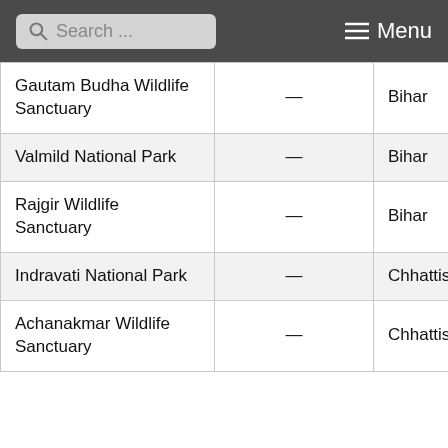Search ... Menu
|  |  |  |
| --- | --- | --- |
| Gautam Budha Wildlife Sanctuary | — | Bihar |
| Valmild National Park | — | Bihar |
| Rajgir Wildlife Sanctuary | — | Bihar |
| Indravati National Park | — | Chhattisgarh |
| Achanakmar Wildlife Sanctuary | — | Chhattisgarh |